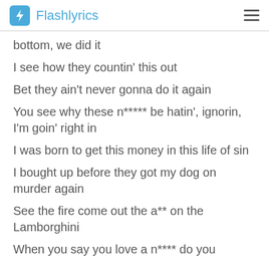Flashlyrics
bottom, we did it
I see how they countin' this out
Bet they ain't never gonna do it again
You see why these n***** be hatin', ignorin, I'm goin' right in
I was born to get this money in this life of sin
I bought up before they got my dog on murder again
See the fire come out the a** on the Lamborghini
When you say you love a n**** do you